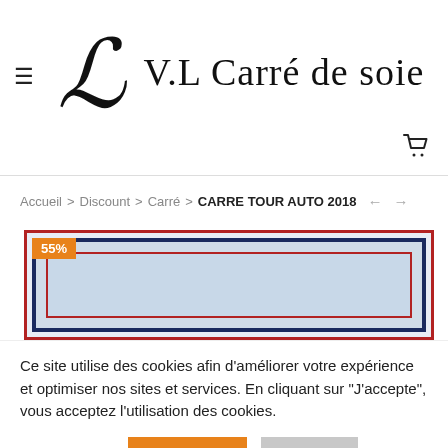V.L Carré de soie
Accueil > Discount > Carré > CARRE TOUR AUTO 2018
[Figure (photo): Product image strip with red and navy blue borders and 55% discount badge]
Ce site utilise des cookies afin d'améliorer votre expérience et optimiser nos sites et services. En cliquant sur "J'accepte", vous acceptez l'utilisation des cookies.
En savoir plus  Accepter  Rejeter